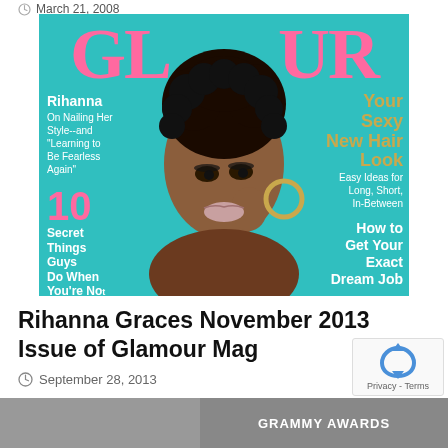March 21, 2008
[Figure (photo): Glamour magazine cover (November 2013) featuring Rihanna on a teal background with pink GLAMOUR logo. Left side text: 'Rihanna On Nailing Her Style--and "Learning to Be Fearless Again"' and '10 Secret Things Guys Do When You're No[t]'. Right side text: 'Your Sexy New Hair Look Easy Ideas for Long, Short, In-Between' and 'How to Get Your Exact Dream Job'.]
Rihanna Graces November 2013 Issue of Glamour Mag
September 28, 2013
[Figure (photo): Bottom partial image strip showing Grammy Awards text and partial figure(s)]